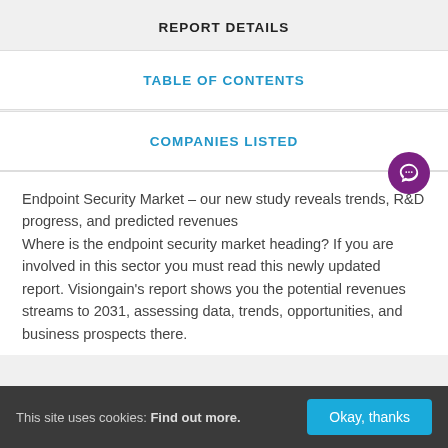REPORT DETAILS
TABLE OF CONTENTS
COMPANIES LISTED
Endpoint Security Market – our new study reveals trends, R&D progress, and predicted revenues
Where is the endpoint security market heading? If you are involved in this sector you must read this newly updated report. Visiongain's report shows you the potential revenues streams to 2031, assessing data, trends, opportunities, and business prospects there.
This site uses cookies: Find out more. Okay, thanks